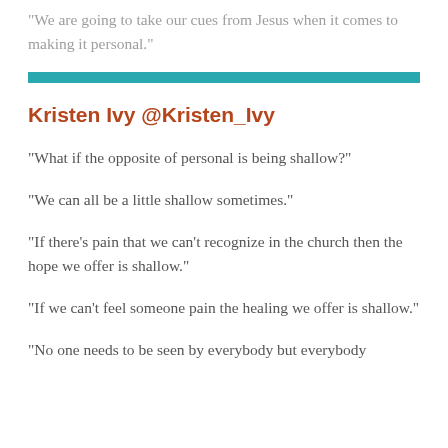“We are going to take our cues from Jesus when it comes to making it personal.”
Kristen Ivy @Kristen_Ivy
“What if the opposite of personal is being shallow?”
“We can all be a little shallow sometimes.”
“If there’s pain that we can’t recognize in the church then the hope we offer is shallow.”
“If we can’t feel someone pain the healing we offer is shallow.”
“No one needs to be seen by everybody but everybody